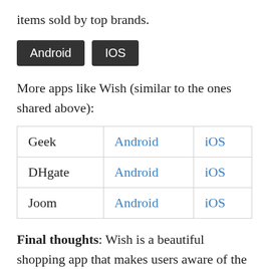items sold by top brands.
[Figure (other): Two dark buttons labeled 'Android' and 'IOS']
More apps like Wish (similar to the ones shared above):
| Geek | Android | iOS |
| DHgate | Android | iOS |
| Joom | Android | iOS |
Final thoughts: Wish is a beautiful shopping app that makes users aware of the best deals. If you're having some issues with it or you're unable to find a